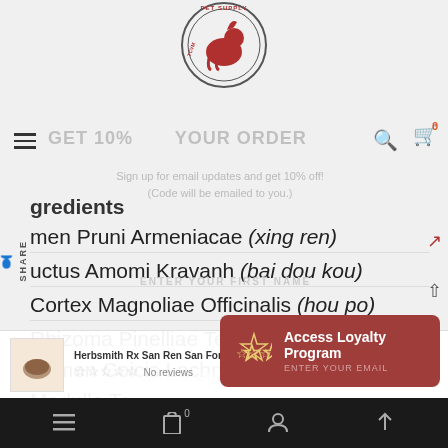[Figure (logo): TCVM Pet Supply circular logo with red horse/dog silhouette]
GET 10% OFF YOUR ORDER
Sign up for email updates and get 10% off! (Code will be emailed to you.)
Ingredients
Semen Pruni Armeniacae (xing ren)
Fructus Amomi Kravanh (bai dou kou)
Cortex Magnoliae Officinalis (hou po)
Rhizoma Pinelliae Ternatae (ban xia)
Semen Coicis Lachryma-jobi (yi yi ren)
Medulla Te...
Herba Loph...
Access Loyalty Program
GET 10% OFF
Herbsmith Rx San Ren San For Cats, Dogs And Horses
No reviews
ADD TO CART